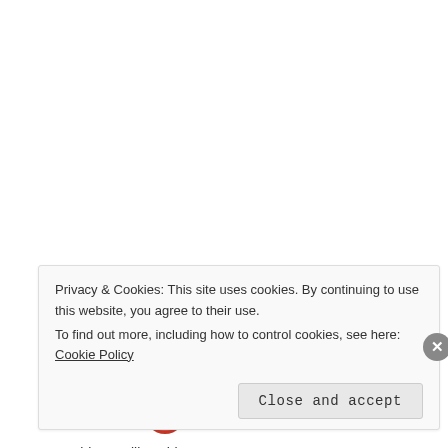Share this:
[Figure (screenshot): Twitter share button with Twitter bird icon]
[Figure (screenshot): Facebook share button with Facebook 'f' icon]
[Figure (screenshot): Like button with star icon and blogger avatar circle]
One blogger likes this.
Privacy & Cookies: This site uses cookies. By continuing to use this website, you agree to their use. To find out more, including how to control cookies, see here: Cookie Policy
Close and accept